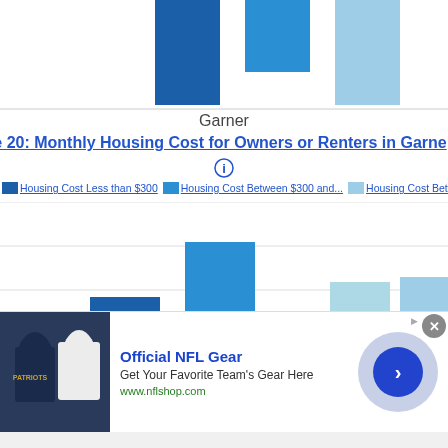Garner
e 20: Monthly Housing Cost for Owners or Renters in Garner
[Figure (bar-chart): Bar chart showing monthly housing cost distribution for Garner. Three bars visible: dark blue (Less than $300) at medium height, medium blue (Between $300 and...) at tallest height, light blue (Between...) at medium height.]
[Figure (advertisement): Official NFL Gear advertisement with Patriots jersey image, title 'Official NFL Gear', tagline 'Get Your Favorite Team's Gear Here', URL www.nflshop.com, close button and forward arrow button.]